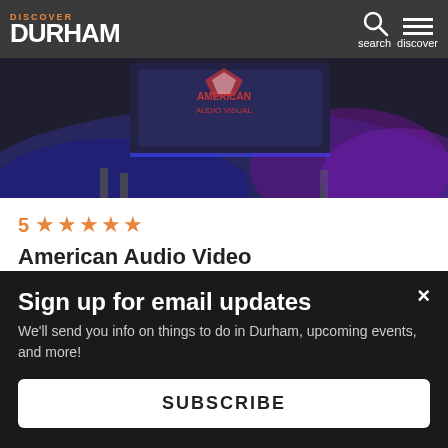Discover Durham - navigation header with logo, search, and discover icons
[Figure (screenshot): Hero image showing American Audio Visual logo on a screen with blue/purple stage lighting]
5 ★★★★★
American Audio Video
4700 Emperor Blvd
Durham, NC 27703
This website uses cookies to ensure you get the best experience on our website.
Sign up for email updates
We'll send you info on things to do in Durham, upcoming events, and more!
SUBSCRIBE